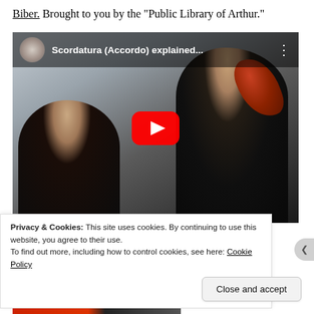Biber. Brought to you by the "Public Library of Arthur."
[Figure (screenshot): YouTube video thumbnail showing two people, one seated and one standing playing violin, with the video title 'Scordatura (Accordo) explained...' in the YouTube player interface with a red play button overlay.]
Privacy & Cookies: This site uses cookies. By continuing to use this website, you agree to their use.
To find out more, including how to control cookies, see here: Cookie Policy